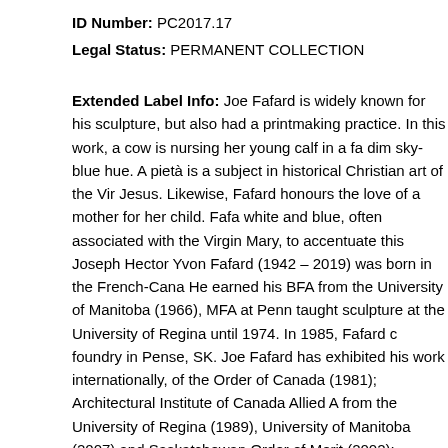ID Number: PC2017.17
Legal Status: PERMANENT COLLECTION
Extended Label Info: Joe Fafard is widely known for his sculpture, but also had a printmaking practice. In this work, a cow is nursing her young calf in a fa dim sky-blue hue. A pietà is a subject in historical Christian art of the Vir Jesus. Likewise, Fafard honours the love of a mother for her child. Fafa white and blue, often associated with the Virgin Mary, to accentuate this Joseph Hector Yvon Fafard (1942 – 2019) was born in the French-Cana He earned his BFA from the University of Manitoba (1966), MFA at Penn taught sculpture at the University of Regina until 1974. In 1985, Fafard c foundry in Pense, SK. Joe Fafard has exhibited his work internationally, of the Order of Canada (1981); Architectural Institute of Canada Allied A from the University of Regina (1989), University of Manitoba (2007) and Saskatchewan Order of Merit (2002); National Prix Montfort (2003); Lieu Centennial Medal for the Arts (2005); CTV Citizen of the Year (2006); ar Lifetime Achievement Award (2007). His work is held in numerous collec of Canada.